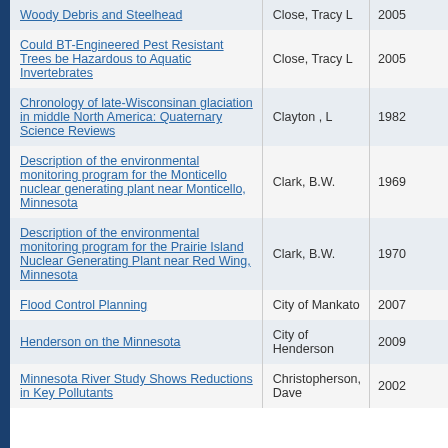| Title | Author | Year |
| --- | --- | --- |
| Woody Debris and Steelhead | Close, Tracy L | 2005 |
| Could BT-Engineered Pest Resistant Trees be Hazardous to Aquatic Invertebrates | Close, Tracy L | 2005 |
| Chronology of late-Wisconsinan glaciation in middle North America: Quaternary Science Reviews | Clayton , L | 1982 |
| Description of the environmental monitoring program for the Monticello nuclear generating plant near Monticello, Minnesota | Clark, B.W. | 1969 |
| Description of the environmental monitoring program for the Prairie Island Nuclear Generating Plant near Red Wing, Minnesota | Clark, B.W. | 1970 |
| Flood Control Planning | City of Mankato | 2007 |
| Henderson on the Minnesota | City of Henderson | 2009 |
| Minnesota River Study Shows Reductions in Key Pollutants | Christopherson, Dave | 2002 |